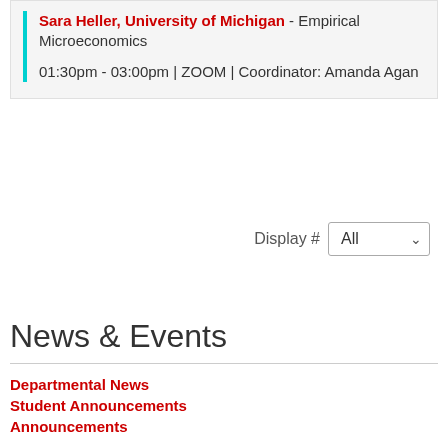Sara Heller, University of Michigan - Empirical Microeconomics
01:30pm - 03:00pm | ZOOM | Coordinator: Amanda Agan
Display # All
News & Events
Departmental News
Student Announcements
Announcements
Workshops
Faculty In The News
> Calendar
Upcoming Events